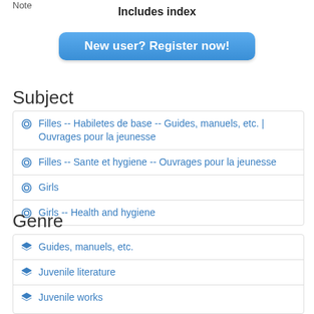Note
Includes index
[Figure (other): Blue rounded button labeled 'New user? Register now!']
Subject
Filles -- Habiletes de base -- Guides, manuels, etc. | Ouvrages pour la jeunesse
Filles -- Sante et hygiene -- Ouvrages pour la jeunesse
Girls
Girls -- Health and hygiene
Genre
Guides, manuels, etc.
Juvenile literature
Juvenile works